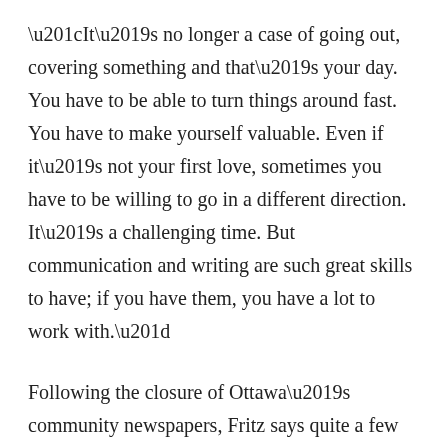“It’s no longer a case of going out, covering something and that’s your day. You have to be able to turn things around fast. You have to make yourself valuable. Even if it’s not your first love, sometimes you have to be willing to go in a different direction. It’s a challenging time. But communication and writing are such great skills to have; if you have them, you have a lot to work with.”
Following the closure of Ottawa’s community newspapers, Fritz says quite a few independent online community news sources have cropped up as an attempt to fill the void.